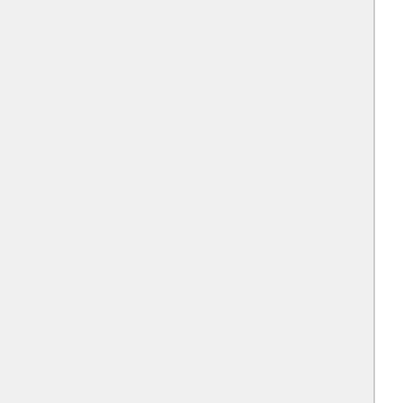Hotel Baan
Campanile Hotel & Restaurant Rotterdam Oost
Hilton Rotterdam
New Ocean Paradise Hotel
Novotel Rotterdam / Schiedam
Golden Tulip Rotterdam Airport Hotel
Tulip Inn Rotterdam
Bastion Deluxe Hotel Rotterdam/Terbregseplein
Domina Hotel & Conference Rotterdam
Skyline Hotel
Cherrycake & Chocolate
MyCityLofts Cocoon
MyCityLofts-Midtown Mansion
MyCityLofts - Rooftop Suite
Urban Residences Rotterdam
Wijnhaven
Shortstay Rotterdam Suites
Appartement de Plataan
Mainport Design Hotel
Hostel Stay Inn
Hostel ROOM Rotterdam
Hier Is \T
Catherina
Miss M
Bastion
Hotel
Hotel
Hotel
Hotel
Eden
Hotel
Suiteh
H2OT
Port H
Cityst
MyCit
Een Ja
Rotte
Hotel
Bed &
Enjoy
Holida
Centra
The S
citize
nhow
Rotte
Bed &
King K